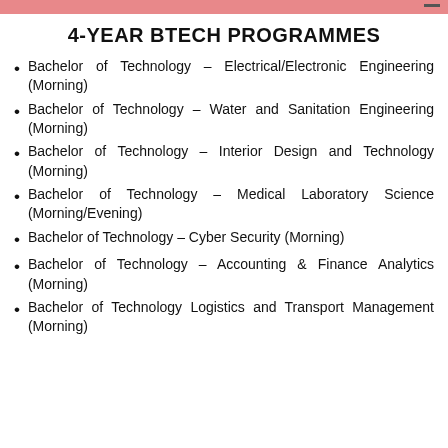4-YEAR BTECH PROGRAMMES
Bachelor of Technology – Electrical/Electronic Engineering (Morning)
Bachelor of Technology – Water and Sanitation Engineering (Morning)
Bachelor of Technology – Interior Design and Technology (Morning)
Bachelor of Technology – Medical Laboratory Science (Morning/Evening)
Bachelor of Technology – Cyber Security (Morning)
Bachelor of Technology – Accounting & Finance Analytics (Morning)
Bachelor of Technology Logistics and Transport Management (Morning)